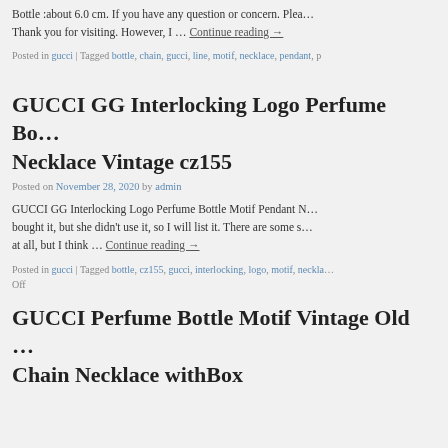Bottle :about 6.0 cm. If you have any question or concern. Plea… Thank you for visiting. However, I … Continue reading →
Posted in gucci | Tagged bottle, chain, gucci, line, motif, necklace, pendant, p
GUCCI GG Interlocking Logo Perfume Bo… Necklace Vintage cz155
Posted on November 28, 2020 by admin
GUCCI GG Interlocking Logo Perfume Bottle Motif Pendant N… bought it, but she didn't use it, so I will list it. There are some s… at all, but I think … Continue reading →
Posted in gucci | Tagged bottle, cz155, gucci, interlocking, logo, motif, neckla… Off
GUCCI Perfume Bottle Motif Vintage Old … Chain Necklace withBox